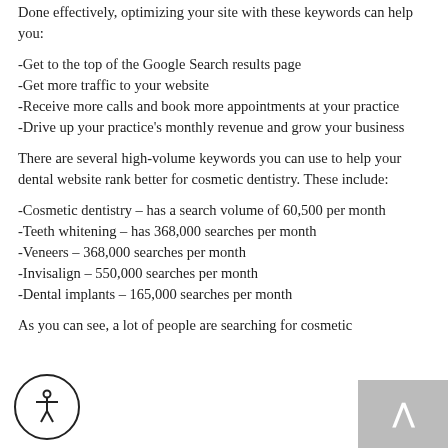Done effectively, optimizing your site with these keywords can help you:
-Get to the top of the Google Search results page
-Get more traffic to your website
-Receive more calls and book more appointments at your practice
-Drive up your practice's monthly revenue and grow your business
There are several high-volume keywords you can use to help your dental website rank better for cosmetic dentistry. These include:
-Cosmetic dentistry – has a search volume of 60,500 per month
-Teeth whitening – has 368,000 searches per month
-Veneers – 368,000 searches per month
-Invisalign – 550,000 searches per month
-Dental implants – 165,000 searches per month
As you can see, a lot of people are searching for cosmetic